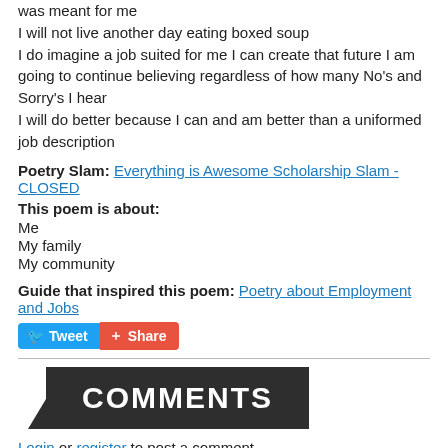was meant for me
I will not live another day eating boxed soup
I do imagine a job suited for me I can create that future I am going to continue believing regardless of how many No's and Sorry's I hear
I will do better because I can and am better than a uniformed job description
Poetry Slam: Everything is Awesome Scholarship Slam - CLOSED
This poem is about:
Me
My family
My community
Guide that inspired this poem: Poetry about Employment and Jobs
[Figure (other): Tweet and Share buttons]
COMMENTS
Login or register to post a comment.